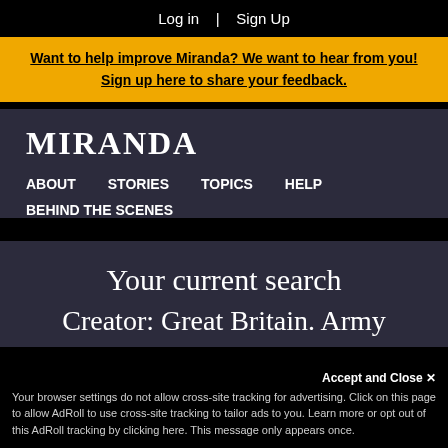Log in   |   Sign Up
Want to help improve Miranda? We want to hear from you! Sign up here to share your feedback.
MIRANDA
ABOUT
STORIES
TOPICS
HELP
BEHIND THE SCENES
Your current search
Creator: Great Britain. Army
Accept and Close ✕
Your browser settings do not allow cross-site tracking for advertising. Click on this page to allow AdRoll to use cross-site tracking to tailor ads to you. Learn more or opt out of this AdRoll tracking by clicking here. This message only appears once.